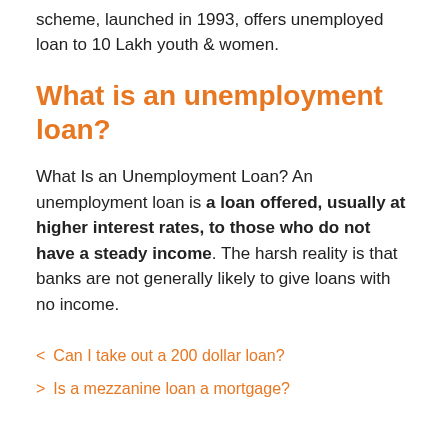scheme, launched in 1993, offers unemployed loan to 10 Lakh youth & women.
What is an unemployment loan?
What Is an Unemployment Loan? An unemployment loan is a loan offered, usually at higher interest rates, to those who do not have a steady income. The harsh reality is that banks are not generally likely to give loans with no income.
< Can I take out a 200 dollar loan?
> Is a mezzanine loan a mortgage?